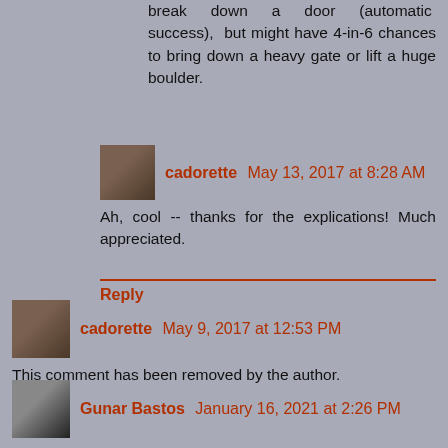break down a door (automatic success), but might have 4-in-6 chances to bring down a heavy gate or lift a huge boulder.
cadorette May 13, 2017 at 8:28 AM
Ah, cool -- thanks for the explications! Much appreciated.
Reply
cadorette May 9, 2017 at 12:53 PM
This comment has been removed by the author.
Reply
Gunar Bastos January 16, 2021 at 2:26 PM
This method looks a lot like Fate/Fudge, only there they use 4d6, and give modifier by die.